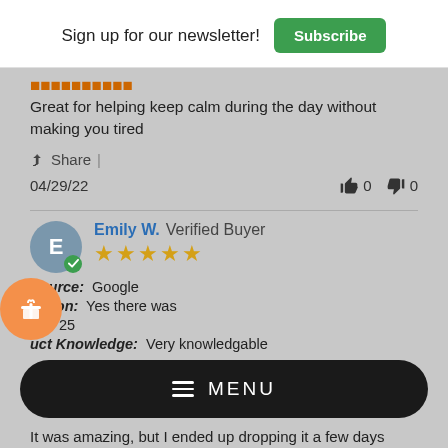Sign up for our newsletter! Subscribe
Great for helping keep calm during the day without making you tired
Share |
04/29/22   👍 0   👎 0
Emily W. Verified Buyer ★★★★★
Source: Google
nation: Yes there was
18 - 25
uct Knowledge: Very knowledgable
≡ MENU
It was amazing, but I ended up dropping it a few days